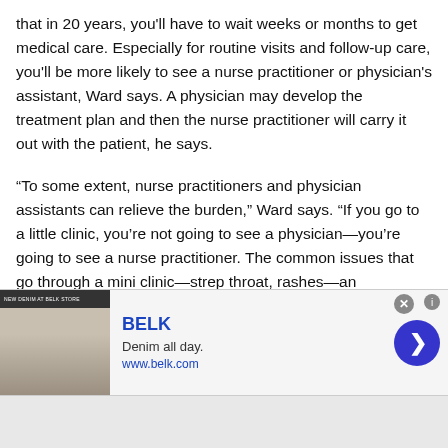that in 20 years, you'll have to wait weeks or months to get medical care. Especially for routine visits and follow-up care, you'll be more likely to see a nurse practitioner or physician's assistant, Ward says. A physician may develop the treatment plan and then the nurse practitioner will carry it out with the patient, he says.
“To some extent, nurse practitioners and physician assistants can relieve the burden,” Ward says. “If you go to a little clinic, you’re not going to see a physician—you’re going to see a nurse practitioner. The common issues that go through a mini clinic—strep throat, rashes—an experienced nurse practitioner can
[Figure (other): Advertisement banner for BELK (clothing brand). Shows people in denim on left, BELK brand name in blue, tagline 'Denim all day.' and URL www.belk.com. Has a circular arrow button on right, a gray scroll-up button, and a close X button.]